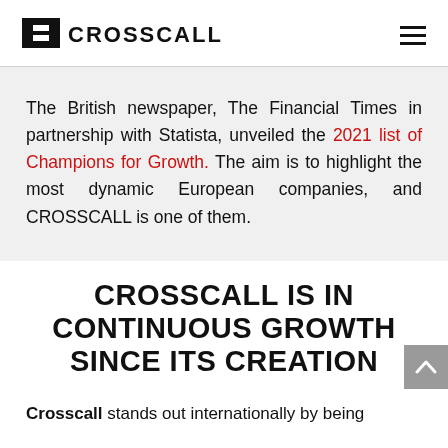CROSSCALL
The British newspaper, The Financial Times in partnership with Statista, unveiled the 2021 list of Champions for Growth. The aim is to highlight the most dynamic European companies, and CROSSCALL is one of them.
CROSSCALL IS IN CONTINUOUS GROWTH SINCE ITS CREATION
Crosscall stands out internationally by being